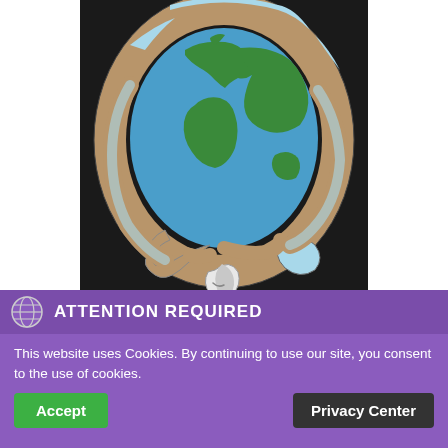[Figure (illustration): Illustration of a cartoon globe/world map with stethoscope-like band around it and a small crescent moon character at the bottom, on a dark/black background. The globe shows Europe, Africa, Asia and Australia in green and blue with map details on the banding.]
ATTENTION REQUIRED
This website uses Cookies. By continuing to use our site, you consent to the use of cookies.
Accept
Privacy Center